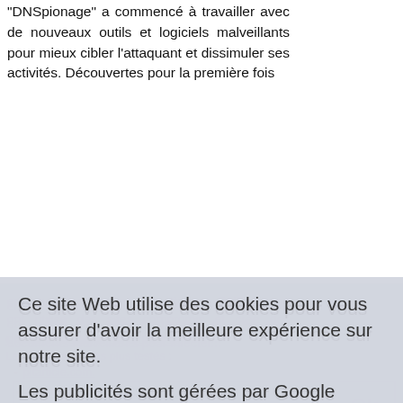"DNSpionage" a commencé à travailler avec de nouveaux outils et logiciels malveillants pour mieux cibler l'attaquant et dissimuler ses activités. Découvertes pour la première fois
en novembre dernier, les attaques DNSpionage ont utilisé des sites compromis et créé des documents malveillants pour infecter...
Ce site Web utilise des cookies pour vous assurer d'avoir la meilleure expérience sur notre site.
Les publicités sont gérées par Google AdSense qui utilise des cookies pour collecter, partager et utiliser les données récupérées sur notre site.  Détail
Choisir un domaine dans une liste
Les 5 domaines les plus testés :
pitarticle.com.
gwest.net.
zen.spamhaus.org.
athedongraca.com.
megaarticle.in.
Les 5 derniers domaines testes :